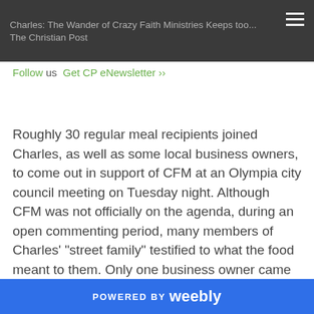Charles: The Wander of Crazy Faith Ministries Keeps too... The Christian Post
Follow us  Get CP eNewsletter ›
Roughly 30 regular meal recipients joined Charles, as well as some local business owners, to come out in support of CFM at an Olympia city council meeting on Tuesday night. Although CFM was not officially on the agenda, during an open commenting period, many members of Charles' "street family" testified to what the food meant to them. Only one business owner came to protest in opposition to what it was doing.
However, neither the meeting, nor subsequent
POWERED BY weebly